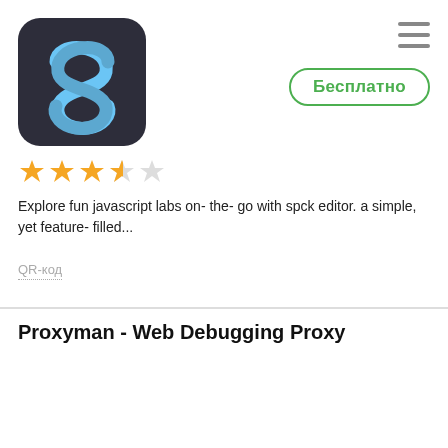[Figure (logo): App icon: dark rounded square with blue S-shaped logo (spck editor)]
[Figure (other): Hamburger menu icon (three horizontal lines)]
Бесплатно
[Figure (other): Star rating: 3.5 out of 5 stars]
Explore fun javascript labs on- the- go with spck editor. a simple, yet feature- filled...
QR-код
Proxyman - Web Debugging Proxy
[Figure (logo): App icon: blue rounded square with white snail/proxy mascot logo]
Бесплатно
[Figure (other): Star rating: 4.5 out of 5 stars]